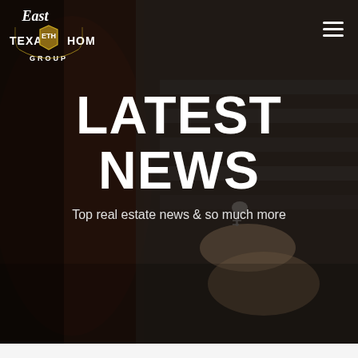[Figure (photo): Dark background photo of a person handing keys to another person, representing a real estate transaction. Image is dimmed with dark overlay.]
East Texas Homes Group logo and hamburger menu icon
LATEST NEWS
Top real estate news & so much more